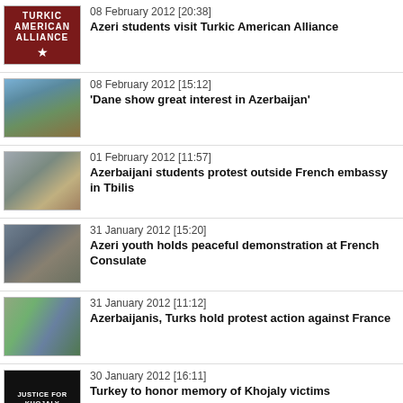08 February 2012 [20:38] Azeri students visit Turkic American Alliance
08 February 2012 [15:12] 'Dane show great interest in Azerbaijan'
01 February 2012 [11:57] Azerbaijani students protest outside French embassy in Tbilis
31 January 2012 [15:20] Azeri youth holds peaceful demonstration at French Consulate
31 January 2012 [11:12] Azerbaijanis, Turks hold protest action against France
30 January 2012 [16:11] Turkey to honor memory of Khojaly victims